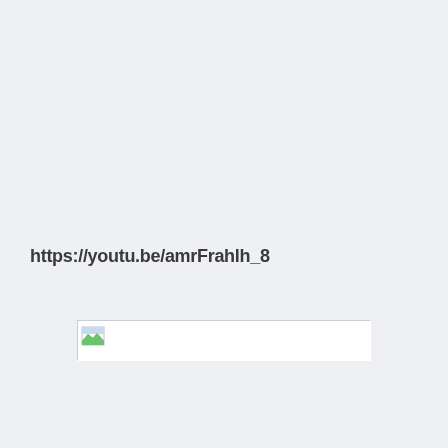https://youtu.be/amrFrahlh_8
[Figure (other): A broken/missing image placeholder shown as a small icon with a green and white graphic in the top-left corner of a white rectangular box with a light gray border.]